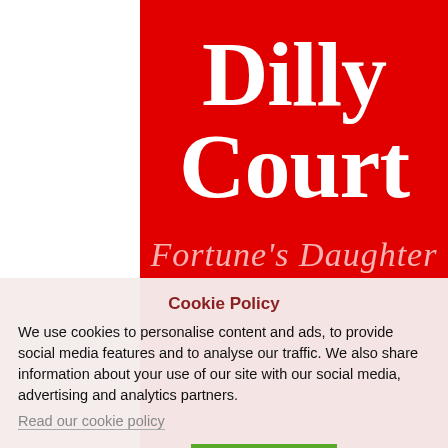[Figure (illustration): Book cover for Dilly Court's 'Fortune's Daughter' — red background with large white serif author name 'Dilly Court' and italic script title 'Fortune's Daughter' below in semi-transparent white.]
Cookie Policy
We use cookies to personalise content and ads, to provide social media features and to analyse our traffic. We also share information about your use of our site with our social media, advertising and analytics partners.
Read our cookie policy
Cookie settings   ACCEPT   X